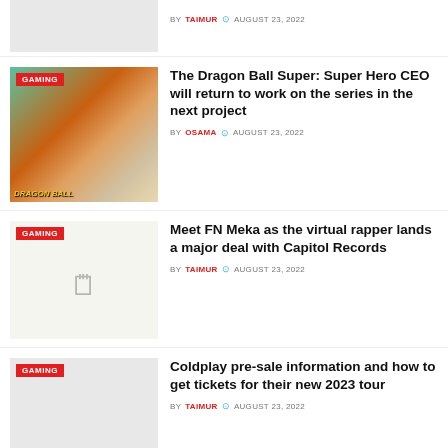[Figure (photo): Partial article thumbnail at top of page, gray background]
BY TAIMUR  AUGUST 23, 2022
[Figure (photo): Dragon Ball Super anime characters with GAMING badge overlay]
The Dragon Ball Super: Super Hero CEO will return to work on the series in the next project
BY OSAMA  AUGUST 23, 2022
[Figure (photo): Gray thumbnail with GAMING badge, small file icon visible]
Meet FN Meka as the virtual rapper lands a major deal with Capitol Records
BY TAIMUR  AUGUST 23, 2022
[Figure (photo): Gray thumbnail with GAMING badge]
Coldplay pre-sale information and how to get tickets for their new 2023 tour
BY TAIMUR  AUGUST 23, 2022